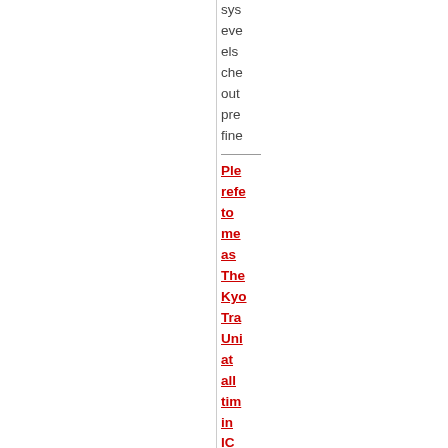sys eve els che out pre fine
Please refer to me as The Kyoto Training Universe at all times in IC
All that is required for